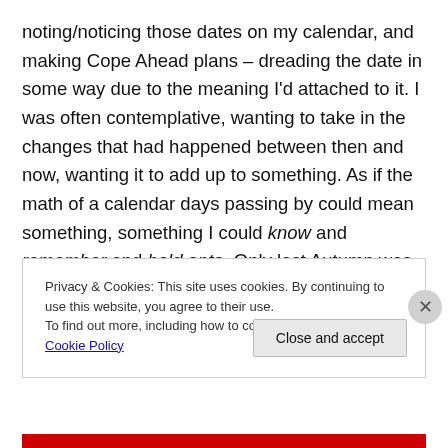noting/noticing those dates on my calendar, and making Cope Ahead plans – dreading the date in some way due to the meaning I'd attached to it. I was often contemplative, wanting to take in the changes that had happened between then and now, wanting it to add up to something. As if the math of a calendar days passing by could mean something, something I could know and remember and hold onto. Only last Autumn was it suggested to me that these dates are neither good or bad. They just are.
Privacy & Cookies: This site uses cookies. By continuing to use this website, you agree to their use.
To find out more, including how to control cookies, see here: Cookie Policy